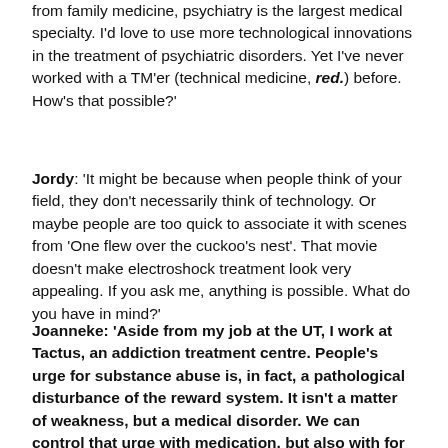from family medicine, psychiatry is the largest medical specialty. I'd love to use more technological innovations in the treatment of psychiatric disorders. Yet I've never worked with a TM'er (technical medicine, red.) before. How's that possible?'
Jordy: 'It might be because when people think of your field, they don't necessarily think of technology. Or maybe people are too quick to associate it with scenes from 'One flew over the cuckoo's nest'. That movie doesn't make electroshock treatment look very appealing. If you ask me, anything is possible. What do you have in mind?'
Joanneke: 'Aside from my job at the UT, I work at Tactus, an addiction treatment centre. People's urge for substance abuse is, in fact, a pathological disturbance of the reward system. It isn't a matter of weakness, but a medical disorder. We can control that urge with medication, but also with for example